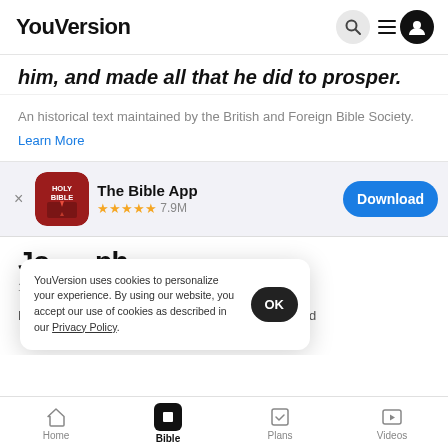YouVersion
him, and made all that he did to prosper.
An historical text maintained by the British and Foreign Bible Society.
Learn More
[Figure (screenshot): App download banner for 'The Bible App' with Holy Bible icon, 4.5 star rating, 7.9M reviews, and Download button]
Joseph in Potiphar's House
1 Now J
Egyptian named Potiphar, an officer of Pharaoh and
YouVersion uses cookies to personalize your experience. By using our website, you accept our use of cookies as described in our Privacy Policy.
Home   Bible   Plans   Videos